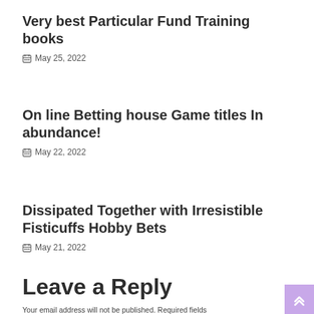Very best Particular Fund Training books
May 25, 2022
On line Betting house Game titles In abundance!
May 22, 2022
Dissipated Together with Irresistible Fisticuffs Hobby Bets
May 21, 2022
Leave a Reply
Your email address will not be published. Required fields